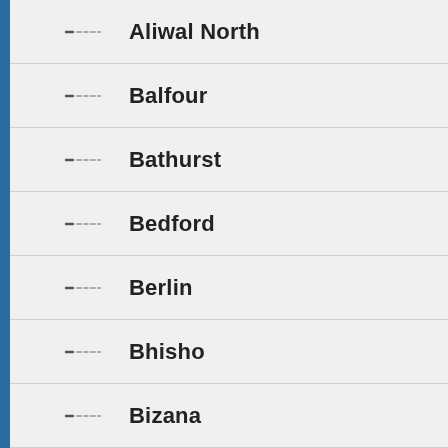Aliwal North
Balfour
Bathurst
Bedford
Berlin
Bhisho
Bizana